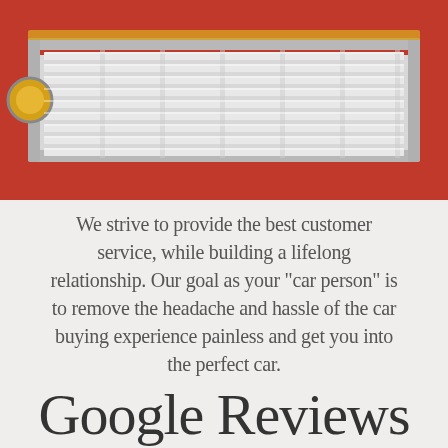[Figure (photo): Close-up photograph of a classic red car's chrome grille and front end, showing horizontal chrome slats and red body panels]
We strive to provide the best customer service, while building a lifelong relationship. Our goal as your "car person" is to remove the headache and hassle of the car buying experience painless and get you into the perfect car.
Google Reviews